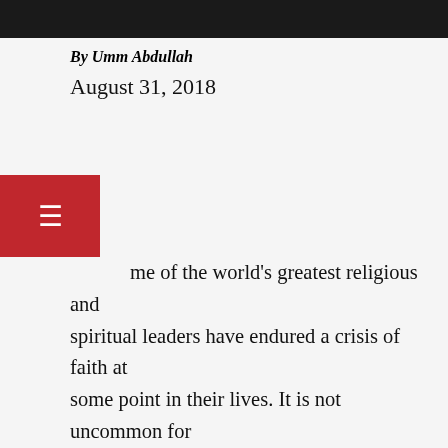[Figure (photo): Top portion of a photo, appears to be a portrait, mostly dark/black at the top of the page]
By Umm Abdullah
August 31, 2018
me of the world's greatest religious and spiritual leaders have endured a crisis of faith at some point in their lives. It is not uncommon for religious people to go through periods of doubt and experience emptiness so profound that nothing they do can induce the emotions of reverence and awe that they once enjoyed effortlessly. This state of ambivalence and confusion can last as long as a few years to a few decades. And it often expands into a time when one feels compelled to ‘freelance life’ because the role to which they are initially assigned